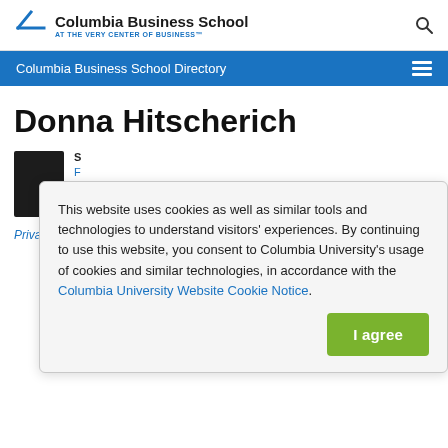Columbia Business School — AT THE VERY CENTER OF BUSINESS™
Columbia Business School Directory
Donna Hitscherich
This website uses cookies as well as similar tools and technologies to understand visitors' experiences. By continuing to use this website, you consent to Columbia University's usage of cookies and similar technologies, in accordance with the Columbia University Website Cookie Notice.
I agree
S
F
D
Private Equity Program